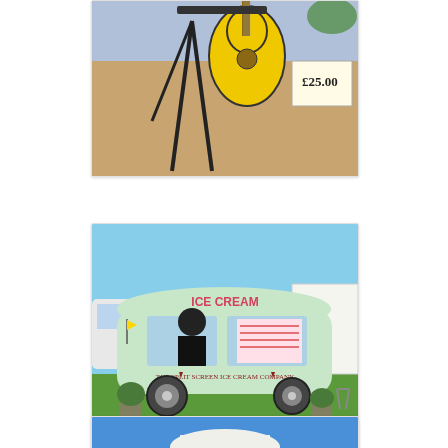[Figure (photo): A yellow guitar on a sandy beach scene with a price sign showing £25.00, with a drone or similar device visible]
[Figure (photo): An ice cream van/truck labeled 'ICE CREAM' and 'The Split Screen Ice Cream Company', a vintage mint-green VW-style vehicle parked on grass at an outdoor event]
[Figure (photo): Partial view of a person against a blue sky background, only the top of a hat visible]